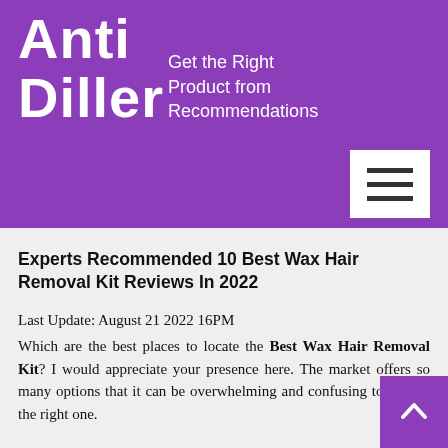Anti Diller
Get the Right Product from Recommendations
Experts Recommended 10 Best Wax Hair Removal Kit Reviews In 2022
Last Update: August 21 2022 16PM
Which are the best places to locate the Best Wax Hair Removal Kit? I would appreciate your presence here. The market offers so many options that it can be overwhelming and confusing to choose the right one.